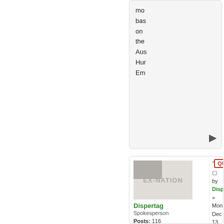mo bas on the Aus Hur Em
[Figure (screenshot): Forum post card with EX-NATION logo image, user Dispertag (Spokesperson), Posts: 116, Founded: Nov 22, 2020, Ex-Nation. Post dated Mon Dec 13, 2021 3:55 pm with QUOTE button. Post body starts: Fo Dis is a Co Pa Mo we ha]
Dispertag
Spokesperson
Posts: 116
Founded: Nov 22, 2020
Ex-Nation
by Dispertag » Mon Dec 13, 2021 3:55 pm
Fo Dis is a Co Pa Mo we ha